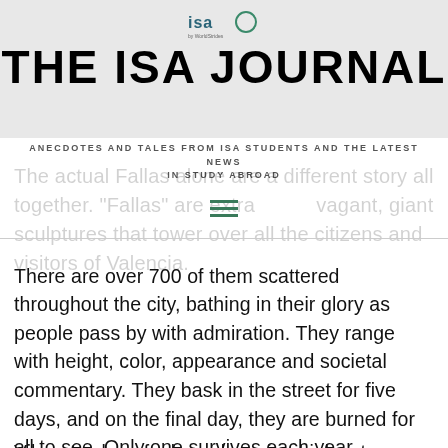[Figure (logo): ISA logo with circle icon and 'by WorldStrides' subtitle in header area]
THE ISA JOURNAL
ANECDOTES AND TALES FROM ISA STUDENTS AND THE LATEST NEWS IN STUDY ABROAD
The actual Fallas alone are a different story all together. "Fallas" are extravagant, giant sculptures that tower over all the citizens and visitors of Valencia.
There are over 700 of them scattered throughout the city, bathing in their glory as people pass by with admiration. They range with height, color, appearance and societal commentary. They bask in the street for five days, and on the final day, they are burned for all to see. Only one survives each year, depending on popular vote. The others are sent to ashes.
Vibrant colors, feel-good music, drinks at your disposal,